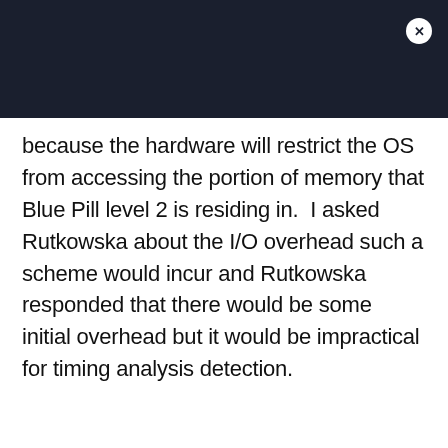because the hardware will restrict the OS from accessing the portion of memory that Blue Pill level 2 is residing in.  I asked Rutkowska about the I/O overhead such a scheme would incur and Rutkowska responded that there would be some initial overhead but it would be impractical for timing analysis detection.